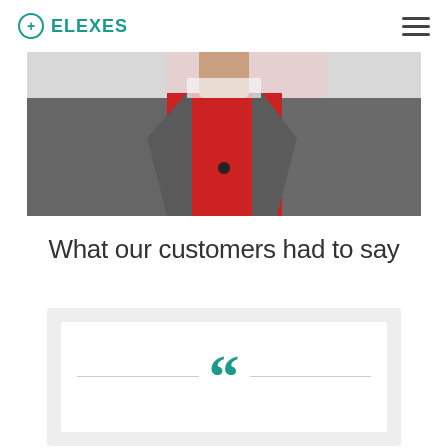ELEXES
[Figure (photo): Close-up photo of a person in a gray suit jacket and red shirt, upper torso visible against a light background]
What our customers had to say
[Figure (illustration): White card with large teal double quotation marks centered, flanked by horizontal lines on each side, on a light gray background]